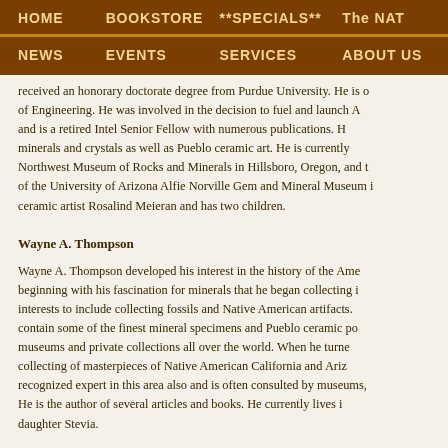HOME  BOOKSTORE  **SPECIALS**  The NAT  NEWS  EVENTS  SERVICES  ABOUT US
received an honorary doctorate degree from Purdue University. He is of Engineering. He was involved in the decision to fuel and launch A and is a retired Intel Senior Fellow with numerous publications. H minerals and crystals as well as Pueblo ceramic art. He is currently Northwest Museum of Rocks and Minerals in Hillsboro, Oregon, and t of the University of Arizona Alfie Norville Gem and Mineral Museum i ceramic artist Rosalind Meieran and has two children.
Wayne A. Thompson
Wayne A. Thompson developed his interest in the history of the Ame beginning with his fascination for minerals that he began collecting i interests to include collecting fossils and Native American artifacts. contain some of the finest mineral specimens and Pueblo ceramic po museums and private collections all over the world. When he turne collecting of masterpieces of Native American California and Ariz recognized expert in this area also and is often consulted by museums, He is the author of several articles and books. He currently lives i daughter Stevia.